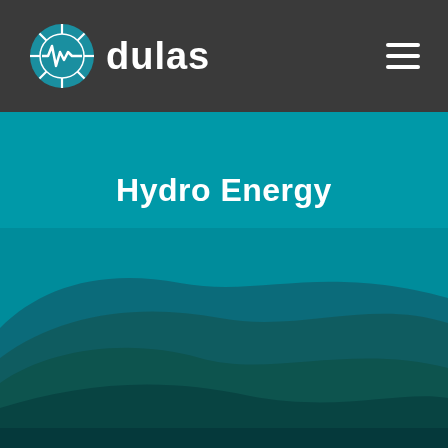[Figure (logo): Dulas company logo: circular teal/blue globe icon with a waveform line and a stylized 'd' shape, followed by the word 'dulas' in white bold text]
[Figure (photo): Hero section with teal/cyan background color overlay on a landscape photograph showing rolling green hills/mountains under a sky, with the hero section transitioning from solid teal at top to a landscape image at the bottom]
Hydro Energy